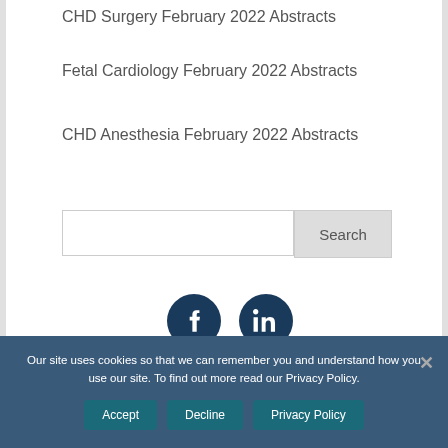CHD Surgery February 2022 Abstracts
Fetal Cardiology February 2022 Abstracts
CHD Anesthesia February 2022 Abstracts
[Figure (screenshot): Search input box with a 'Search' button on the right]
[Figure (infographic): Two circular social media icons: Facebook (f) and LinkedIn (in), dark navy blue background]
Our site uses cookies so that we can remember you and understand how you use our site. To find out more read our Privacy Policy.
Accept   Decline   Privacy Policy